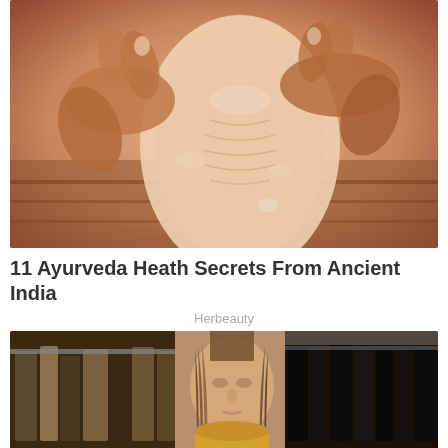[Figure (photo): Close-up photo of hands massaging an oiled foot/heel, traditional Ayurveda massage style]
11 Ayurveda Heath Secrets From Ancient India
Herbeauty
[Figure (photo): Photo of a woman with long brown hair wearing a yellow/mustard top, standing in front of clothing racks in what appears to be a closet or boutique]